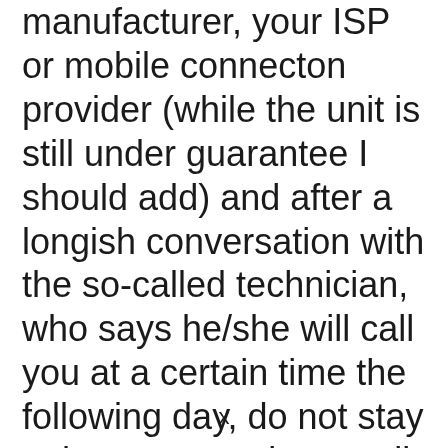manufacturer, your ISP or mobile connecton provider (while the unit is still under guarantee I should add) and after a longish conversation with the so-called technician, who says he/she will call you at a certain time the following day, do not stay at home expecting a call. It's what these people say when they have failed to sort-out your problem and do not know where next to go. (
x